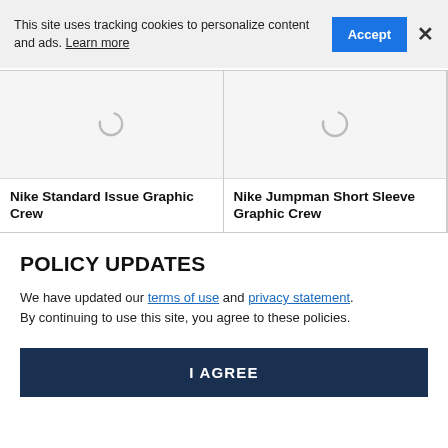This site uses tracking cookies to personalize content and ads. Learn more
[Figure (screenshot): Two product cards with loading spinners. Left card: Nike Standard Issue Graphic Crew. Right card: Nike Jumpman Short Sleeve Graphic Crew.]
POLICY UPDATES
We have updated our terms of use and privacy statement. By continuing to use this site, you agree to these policies.
I AGREE